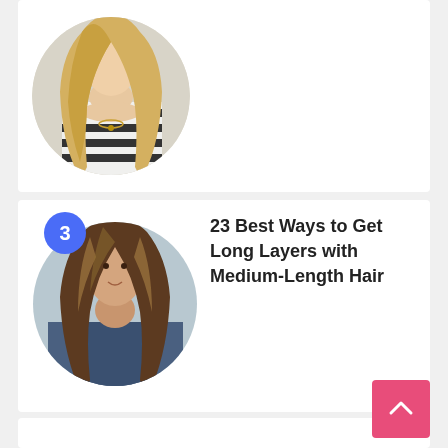[Figure (photo): Circular cropped photo of a blonde woman with long wavy hair, wearing a striped top and gold necklace]
[Figure (photo): Circular cropped photo of a brunette woman with medium-length layered wavy hair, wearing a denim jacket, with a blue badge showing number 3]
23 Best Ways to Get Long Layers with Medium-Length Hair